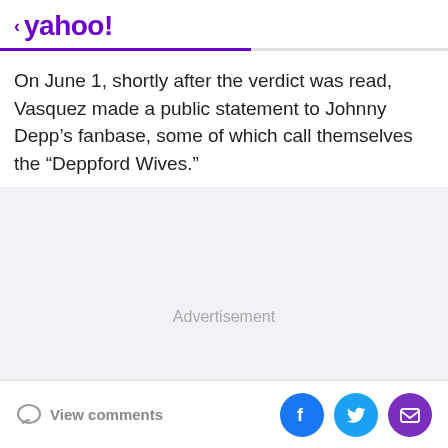< yahoo!
On June 1, shortly after the verdict was read, Vasquez made a public statement to Johnny Depp’s fanbase, some of which call themselves the “Deppford Wives.”
[Figure (other): Advertisement placeholder area with light gray background and centered 'Advertisement' label]
View comments | Facebook share | Twitter share | Email share